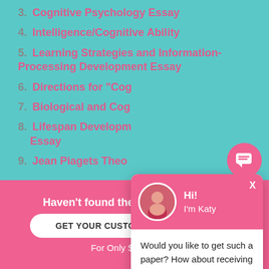3. Cognitive Psychology Essay
4. Intelligence/Cognitive Ability
5. Learning Strategies and Information-Processing Development Essay
6. Directions for "Cog..."
7. Biological and Cog...
8. Lifespan Developm... Essay
9. Jean Piagets Theo...
POST A COMMENT
[Figure (screenshot): Chat popup with avatar of Katy, greeting 'Hi! I'm Katy', message 'Would you like to get such a paper? How about receiving a customized one?' with 'Check it out' link]
Haven't found the Essay You Want?
GET YOUR CUSTOM ESSAY SAMPLE
For Only $13.90/page